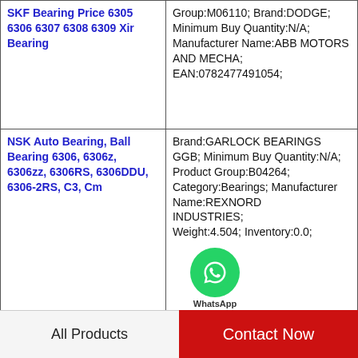| Product | Details |
| --- | --- |
| SKF Bearing Price 6305 6306 6307 6308 6309 Xir Bearing | Group:M06110; Brand:DODGE; Minimum Buy Quantity:N/A; Manufacturer Name:ABB MOTORS AND MECHA; EAN:0782477491054; |
| NSK Auto Bearing, Ball Bearing 6306, 6306z, 6306zz, 6306RS, 6306DDU, 6306-2RS, C3, Cm | Brand:GARLOCK BEARINGS GGB; Minimum Buy Quantity:N/A; Product Group:B04264; Category:Bearings; Manufacturer Name:REXNORD INDUSTRIES; Weight:4.504; Inventory:0.0; |
| SKF Original Chrome Steel Motor Bearing | Raceway Style:1 Rib Outer Ring; Mounting Arrangement:Universal; Weight:0.201; Cage Material:Phenolic; B:0.62 |
All Products   Contact Now